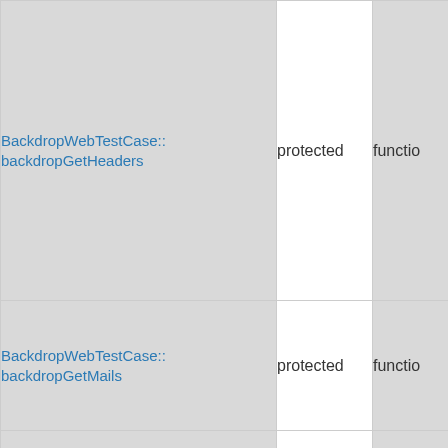| Name | Access | Type |
| --- | --- | --- |
| BackdropWebTestCase::backdropGetHeaders | protected | functio |
| BackdropWebTestCase::backdropGetMails | protected | functio |
| BackdropWebTestCase:: |  |  |